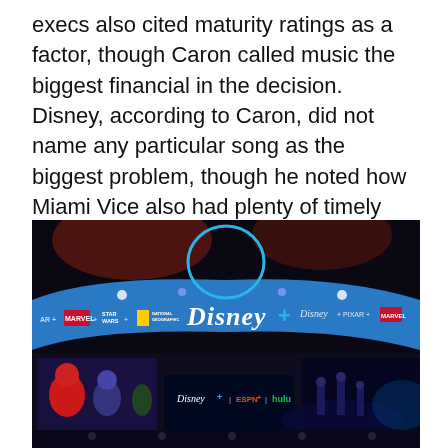execs also cited maturity ratings as a factor, though Caron called music the biggest financial in the decision. Disney, according to Caron, did not name any particular song as the biggest problem, though he noted how Miami Vice also had plenty of timely songs of its own and yet can be streamed on NBC's Peacock.
[Figure (photo): A Disney+ branded expo booth/display showing a large illuminated circular Disney+ logo, a horizontal banner listing Marvel, Star Wars, National Geographic, Disney+, Disney, Pixar, Marvel brands, and large screens below showing Disney, Pixar, ESPN+, and Hulu logos on a dark background.]